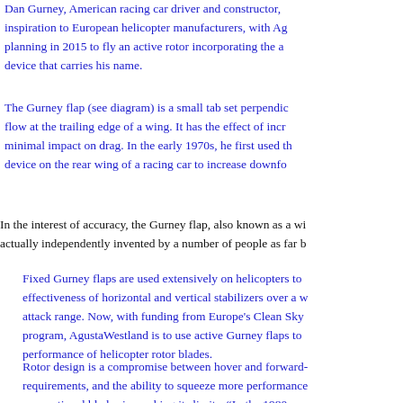Dan Gurney, American racing car driver and constructor, inspiration to European helicopter manufacturers, with Ag planning in 2015 to fly an active rotor incorporating the a device that carries his name.
The Gurney flap (see diagram) is a small tab set perpendic flow at the trailing edge of a wing. It has the effect of incr minimal impact on drag. In the early 1970s, he first used th device on the rear wing of a racing car to increase downfo
In the interest of accuracy, the Gurney flap, also known as a wi actually independently invented by a number of people as far b
Fixed Gurney flaps are used extensively on helicopters to effectiveness of horizontal and vertical stabilizers over a w attack range. Now, with funding from Europe's Clean Sky program, AgustaWestland is to use active Gurney flaps to performance of helicopter rotor blades.
Rotor design is a compromise between hover and forward- requirements, and the ability to squeeze more performance conventional blades is reaching its limits. "In the 1980s a big gains. Now they are smaller. We have more powerful